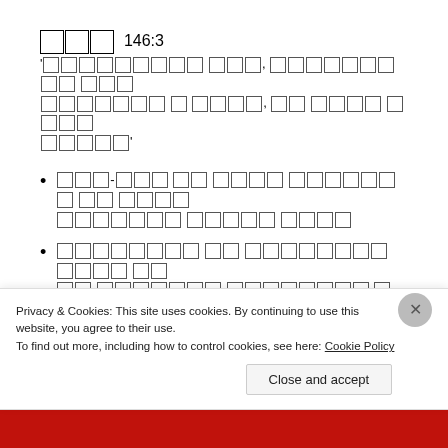□□□ 146:3
'□□□□□□□□□ □□□, □□□□□□□□□ □□□ □□□□□□□ □ □□□□, □□ □□□□ □□□□ □□□□□'
□□□-□□□ □□ □□□□ □□□□□□□ □□ □□□□ □□□□□□□ □□□□□ □□□□
□□□□□□□□ □□ □□□□□□□□ □□□□ □□ □□ □□□□□□□ □□□□□□□□ □□□□ □□□□
Privacy & Cookies: This site uses cookies. By continuing to use this website, you agree to their use.
To find out more, including how to control cookies, see here: Cookie Policy
Close and accept